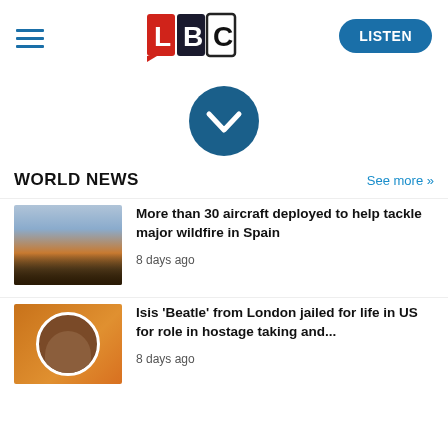[Figure (logo): LBC radio logo with L in red, B in dark, C outlined; hamburger menu icon on left; LISTEN button on right]
[Figure (other): Dark blue circular chevron/down-arrow button]
WORLD NEWS
See more »
[Figure (photo): Aerial firefighting aircraft over wildfire smoke and dark treeline in Spain]
More than 30 aircraft deployed to help tackle major wildfire in Spain
8 days ago
[Figure (photo): Headshot of a man with orange background, circular crop with white border]
Isis 'Beatle' from London jailed for life in US for role in hostage taking and...
8 days ago